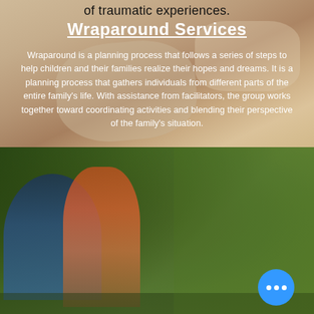of traumatic experiences.
[Figure (photo): Two people, likely a parent and child or tutor and student, looking at a book together. Warm-toned photo showing hands and faces close together over a book.]
[Figure (photo): Park scene with a man and a child (boy in orange shirt holding a soccer ball) sitting on a bench outdoors among trees.]
Wraparound Services
Wraparound is a planning process that follows a series of steps to help children and their families realize their hopes and dreams. It is a planning process that gathers individuals from different parts of the entire family's life. With assistance from facilitators, the group works together toward coordinating activities and blending their perspective of the family's situation.